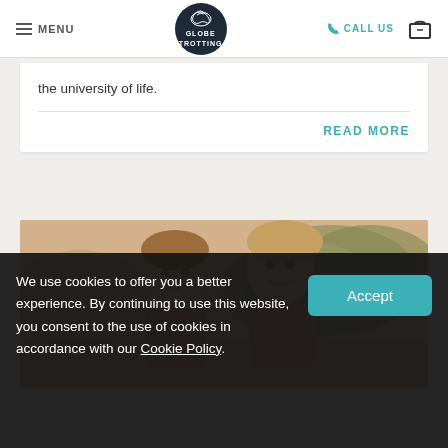MENU | GLOBE TROTTING | CALL US
the university of life.
READ MORE
[Figure (photo): Vintage photograph of two young smiling girls outdoors with trees in background]
We use cookies to offer you a better experience. By continuing to use this website, you consent to the use of cookies in accordance with our Cookie Policy.